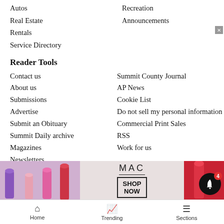Autos
Recreation
Real Estate
Announcements
Rentals
Service Directory
Reader Tools
Contact us
Summit County Journal
About us
AP News
Submissions
Cookie List
Advertise
Do not sell my personal information
Submit an Obituary
Commercial Print Sales
Summit Daily archive
RSS
Magazines
Work for us
Newsletters
Summit Daily E-Edition
News Neighbors
Aspen – Snowmass
Vail - Eagle County
Craig – M…
Glenwood…
[Figure (screenshot): MAC cosmetics advertisement banner with lipsticks, MAC logo, and SHOP NOW button]
[Figure (screenshot): Bottom navigation bar with Home, Trending, Sections icons and notification bell with count 4]